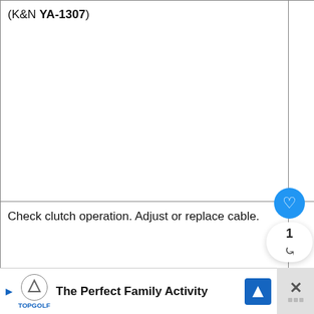| Item | Check1 | Check2 | Check3 | Check4 | Notes |
| --- | --- | --- | --- | --- | --- |
| (K&N YA-1307) |  |  |  |  | more often if riding in dusty/rainy conditions. |
| Check clutch operation. Adjust or replace cable. | ✓ | ✓ | ✓ | ✓ |  |
| Check front brake operation, fluid level, and for fluid leakage. Replace brake… | ✓ | ✓ | ✓ | ✓ |  |